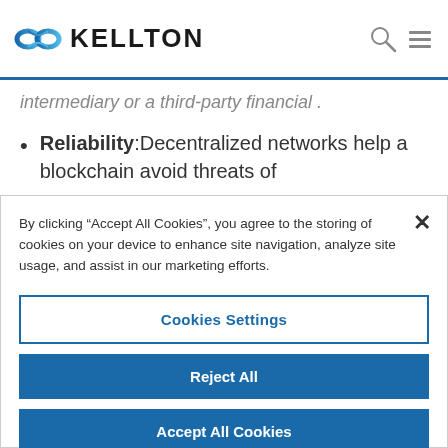KELLTON
intermediary or a third-party financial .
Reliability: Decentralized networks help a blockchain avoid threats of
By clicking “Accept All Cookies”, you agree to the storing of cookies on your device to enhance site navigation, analyze site usage, and assist in our marketing efforts.
Cookies Settings
Reject All
Accept All Cookies